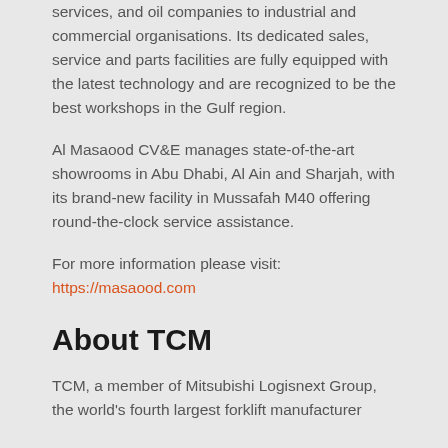services, and oil companies to industrial and commercial organisations. Its dedicated sales, service and parts facilities are fully equipped with the latest technology and are recognized to be the best workshops in the Gulf region.
Al Masaood CV&E manages state-of-the-art showrooms in Abu Dhabi, Al Ain and Sharjah, with its brand-new facility in Mussafah M40 offering round-the-clock service assistance.
For more information please visit: https://masaood.com
About TCM
TCM, a member of Mitsubishi Logisnext Group, the world's fourth largest forklift manufacturer